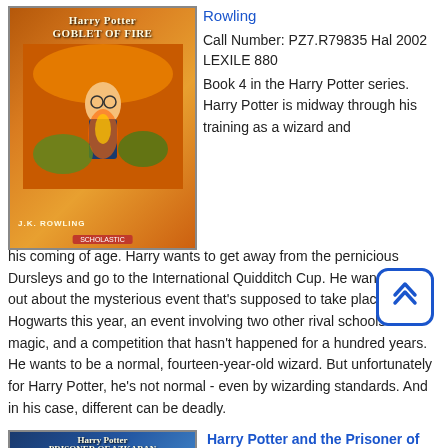[Figure (illustration): Book cover of Harry Potter and the Goblet of Fire]
Rowling
Call Number: PZ7.R79835 Hal 2002
LEXILE 880
Book 4 in the Harry Potter series. Harry Potter is midway through his training as a wizard and his coming of age. Harry wants to get away from the pernicious Dursleys and go to the International Quidditch Cup. He wants to find out about the mysterious event that's supposed to take place at Hogwarts this year, an event involving two other rival schools of magic, and a competition that hasn't happened for a hundred years. He wants to be a normal, fourteen-year-old wizard. But unfortunately for Harry Potter, he's not normal - even by wizarding standards. And in his case, different can be deadly.
[Figure (illustration): Book cover of Harry Potter and the Prisoner of Azkaban]
Harry Potter and the Prisoner of Azkaban by J. K. Rowling
Call Number: PZ7.R79835 Ham 1999
LEXILE 880